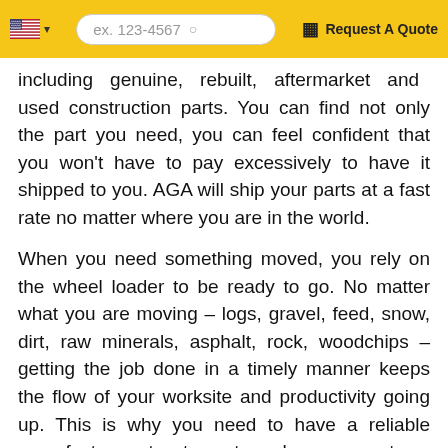ex. 123-4567 | Request A Quote
including genuine, rebuilt, aftermarket and used construction parts. You can find not only the part you need, you can feel confident that you won't have to pay excessively to have it shipped to you. AGA will ship your parts at a fast rate no matter where you are in the world.
When you need something moved, you rely on the wheel loader to be ready to go. No matter what you are moving – logs, gravel, feed, snow, dirt, raw minerals, asphalt, rock, woodchips – getting the job done in a timely manner keeps the flow of your worksite and productivity going up. This is why you need to have a reliable manufacturer to turn to when a part or component breaks or malfunctions.
You will not find a larger selection of affordable